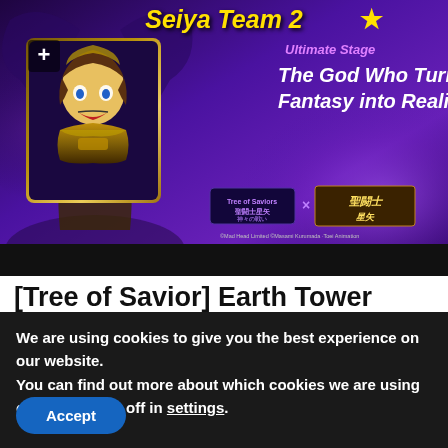[Figure (illustration): Game promotional banner for Tree of Saviors x Saint Seiya crossover. Shows anime character in gold armor with text 'Seiya Team 2★', 'Ultimate Stage', 'The God Who Turns Fantasy into Reality'. Game logos and copyright text at bottom.]
[Tree of Savior] Earth Tower
We are using cookies to give you the best experience on our website.
You can find out more about which cookies we are using or switch them off in settings.
Accept